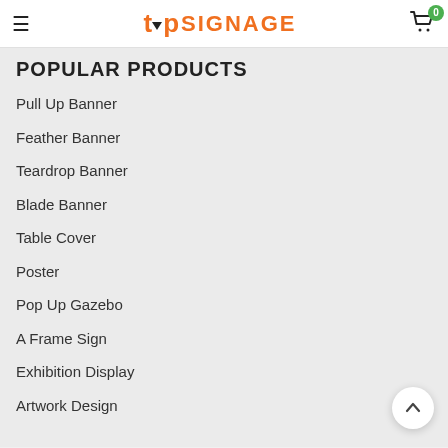TOP SIGNAGE — navigation header with logo and cart
POPULAR PRODUCTS
Pull Up Banner
Feather Banner
Teardrop Banner
Blade Banner
Table Cover
Poster
Pop Up Gazebo
A Frame Sign
Exhibition Display
Artwork Design